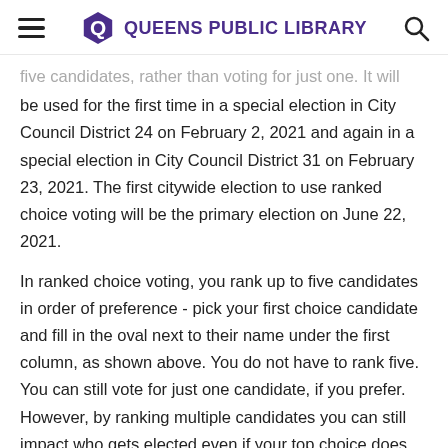Queens Public Library
five candidates, rather than voting for just one. It will be used for the first time in a special election in City Council District 24 on February 2, 2021 and again in a special election in City Council District 31 on February 23, 2021. The first citywide election to use ranked choice voting will be the primary election on June 22, 2021.
In ranked choice voting, you rank up to five candidates in order of preference - pick your first choice candidate and fill in the oval next to their name under the first column, as shown above. You do not have to rank five. You can still vote for just one candidate, if you prefer. However, by ranking multiple candidates you can still impact who gets elected even if your top choice does not win. You can even suggest
if your top choice does not win. You can even suggest